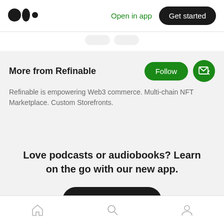[Figure (logo): Medium logo — three black circles]
Open in app
Get started
More from Refinable
Follow
Refinable is empowering Web3 commerce. Multi-chain NFT Marketplace. Custom Storefronts.
Love podcasts or audiobooks? Learn on the go with our new app.
Try Knowable